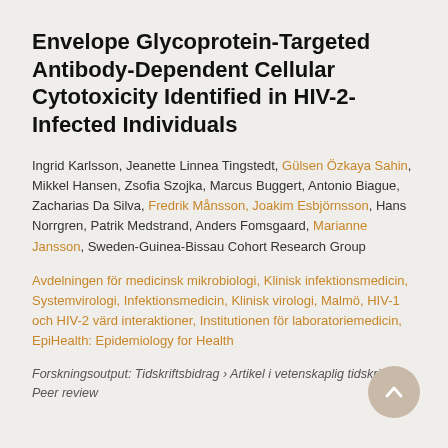Envelope Glycoprotein-Targeted Antibody-Dependent Cellular Cytotoxicity Identified in HIV-2-Infected Individuals
Ingrid Karlsson, Jeanette Linnea Tingstedt, Gülsen Özkaya Sahin, Mikkel Hansen, Zsofia Szojka, Marcus Buggert, Antonio Biague, Zacharias Da Silva, Fredrik Månsson, Joakim Esbjörnsson, Hans Norrgren, Patrik Medstrand, Anders Fomsgaard, Marianne Jansson, Sweden-Guinea-Bissau Cohort Research Group
Avdelningen för medicinsk mikrobiologi, Klinisk infektionsmedicin, Systemvirologi, Infektionsmedicin, Klinisk virologi, Malmö, HIV-1 och HIV-2 värd interaktioner, Institutionen för laboratoriemedicin, EpiHealth: Epidemiology for Health
Forskningsoutput: Tidskriftsbidrag › Artikel i vetenskaplig tidskrift › Peer review